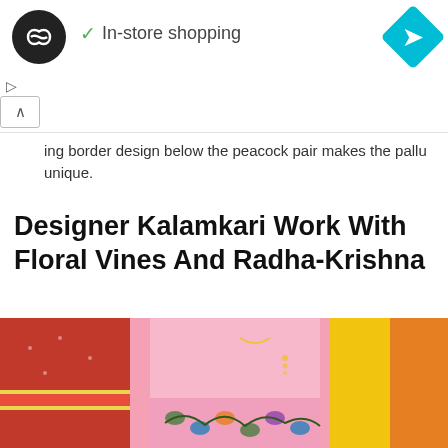[Figure (screenshot): Mobile browser ad bar with infinity-loop logo, in-store shopping text with checkmark, and cyan diamond navigation arrow]
ing border design below the peacock pair makes the pallu unique.
Designer Kalamkari Work With Floral Vines And Radha-Krishna
[Figure (photo): Woman wearing a pink saree with Kalamkari floral vine and Radha-Krishna designs, standing in front of red and yellow garments]